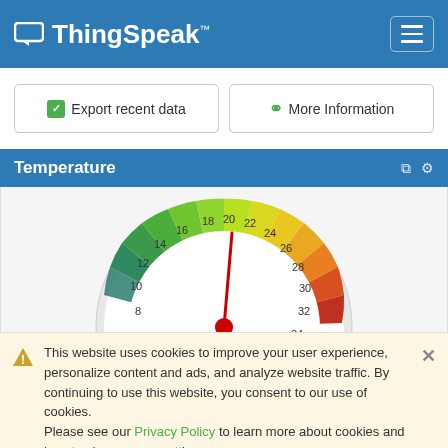ThingSpeak™
Export recent data
More Information
Temperature
[Figure (other): Semicircular temperature gauge dial showing scale from 6 to 34, with color gradient from dark green/teal on the left through green, yellow-green, yellow, orange to dark orange/red on the right. A red needle points to approximately 21-22 degrees.]
This website uses cookies to improve your user experience, personalize content and ads, and analyze website traffic. By continuing to use this website, you consent to our use of cookies. Please see our Privacy Policy to learn more about cookies and how to change your settings.